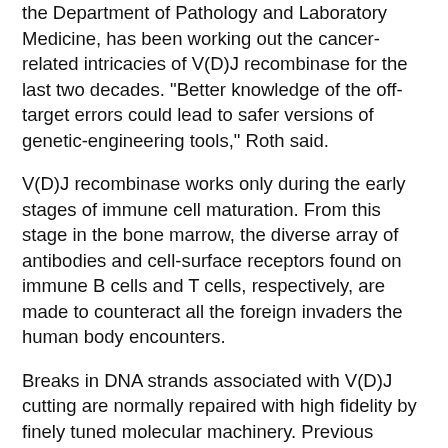the Department of Pathology and Laboratory Medicine, has been working out the cancer-related intricacies of V(D)J recombinase for the last two decades. "Better knowledge of the off-target errors could lead to safer versions of genetic-engineering tools," Roth said.
V(D)J recombinase works only during the early stages of immune cell maturation. From this stage in the bone marrow, the diverse array of antibodies and cell-surface receptors found on immune B cells and T cells, respectively, are made to counteract all the foreign invaders the human body encounters.
Breaks in DNA strands associated with V(D)J cutting are normally repaired with high fidelity by finely tuned molecular machinery. Previous studies from the Roth lab showed that V(D)J recombinase (consisting of the RAG1 and RAG2 proteins) normally sends a break in DNA down the correct repair path by preventing access to other, inappropriate repair mechanisms. This shepherding process can be disabled if the "C" terminus of the RAG2 protein subunit is removed. This causes genomic instability in developing immune cells and, in the absence of a working